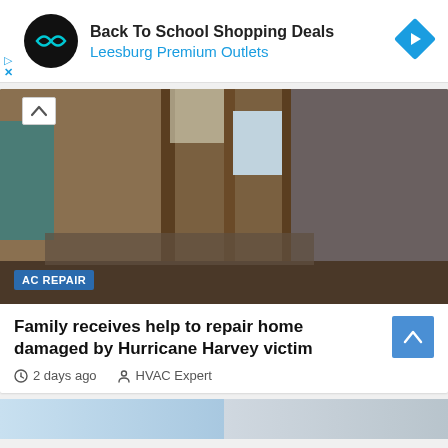[Figure (screenshot): Advertisement banner: Back To School Shopping Deals, Leesburg Premium Outlets, with circular black logo and blue diamond arrow icon]
[Figure (photo): Interior of hurricane-damaged house showing exposed wooden wall studs, debris, and damaged materials with AC REPAIR tag badge overlay]
Family receives help to repair home damaged by Hurricane Harvey victim
2 days ago   HVAC Expert
[Figure (photo): Partial view of bottom strip showing HVAC/AC unit equipment images]